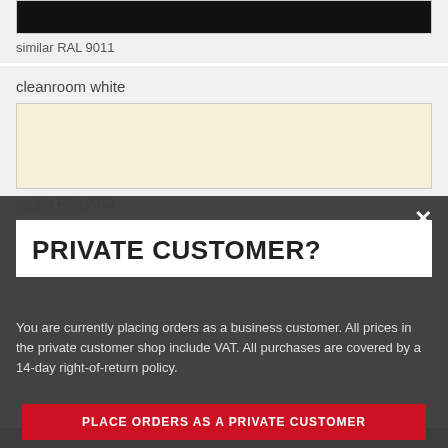similar RAL 9011
cleanroom white
similar RAL 9012
traffic white
PRIVATE CUSTOMER?
You are currently placing orders as a business customer. All prices in the private customer shop include VAT. All purchases are covered by a 14-day right-of-return policy.
PLACE ORDERS AS A PRIVATE CUSTOMER